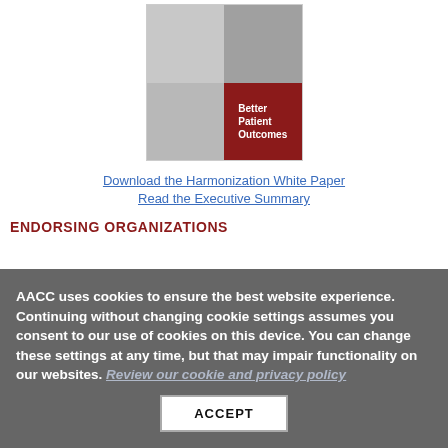[Figure (illustration): Book cover thumbnail showing 'Better Patient Outcomes' with a red square overlay and medical professionals in a grid layout]
Download the Harmonization White Paper
Read the Executive Summary
ENDORSING ORGANIZATIONS
AACC uses cookies to ensure the best website experience. Continuing without changing cookie settings assumes you consent to our use of cookies on this device. You can change these settings at any time, but that may impair functionality on our websites. Review our cookie and privacy policy
ACCEPT